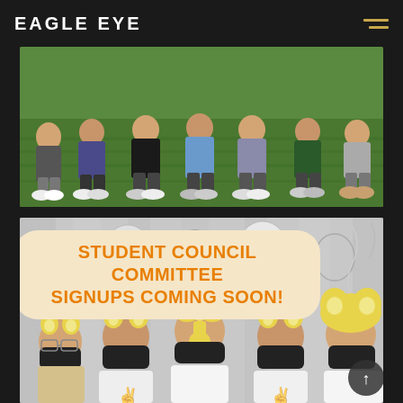EAGLE EYE
[Figure (photo): Group of students sitting on green grass/turf, showing their legs and feet, wearing casual clothes and sneakers]
[Figure (photo): Photo of student council members wearing animal ear headbands and black masks, with balloons in background, overlaid with announcement bubble reading 'STUDENT COUNCIL COMMITTEE SIGNUPS COMING SOON!']
STUDENT COUNCIL COMMITTEE SIGNUPS COMING SOON!